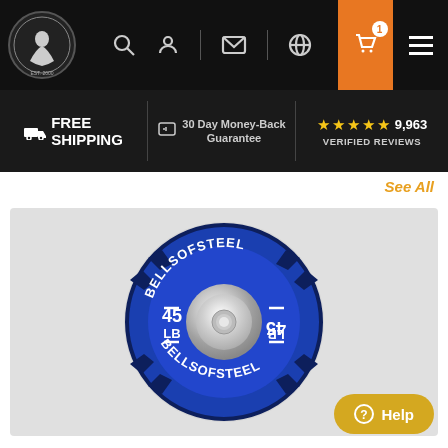Bells of Steel navigation bar with logo, search, account, mail, globe, cart (1 item), and menu icons
FREE SHIPPING | 30 Day Money-Back Guarantee | ★★★★½ 9,963 VERIFIED REVIEWS | See All
[Figure (photo): A blue bumper weight plate labeled BELLSOFSTEEL with 45 LB markings on both sides, silver center hub, photographed on a light gray background.]